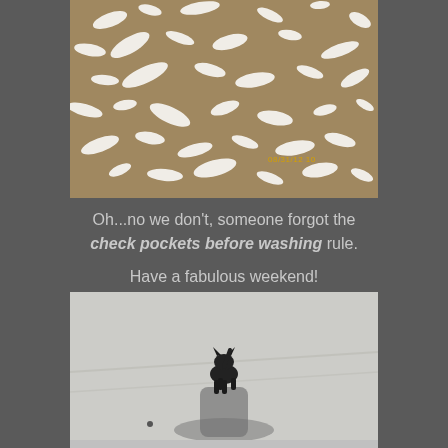[Figure (photo): Photo of a surface (likely dryer drum or floor) covered with shredded white tissue/paper pieces scattered across a tan/brown background, with a timestamp '08/31/12 10' in amber/yellow at the bottom right.]
Oh...no we don't, someone forgot the check pockets before washing rule.
Have a fabulous weekend!
[Figure (photo): Photo of a black dog (appears to be a Scottish Terrier or similar breed) walking away on a light gray/concrete surface, viewed from behind, with its tail up. The shadow of the photographer is visible in the foreground.]